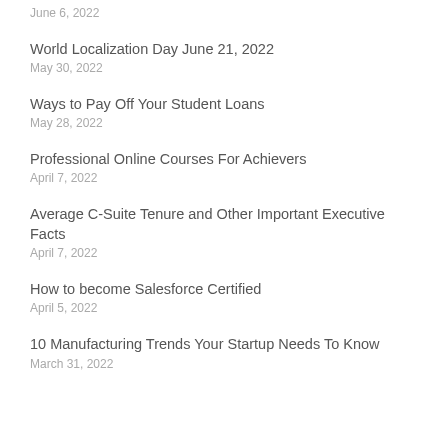June 6, 2022
World Localization Day June 21, 2022
May 30, 2022
Ways to Pay Off Your Student Loans
May 28, 2022
Professional Online Courses For Achievers
April 7, 2022
Average C-Suite Tenure and Other Important Executive Facts
April 7, 2022
How to become Salesforce Certified
April 5, 2022
10 Manufacturing Trends Your Startup Needs To Know
March 31, 2022